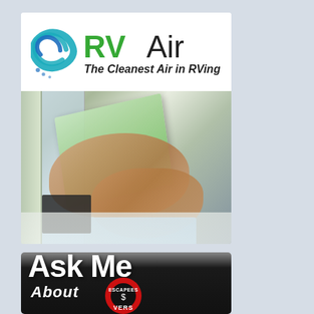[Figure (logo): RVAir logo with teal/blue swirl icon and green 'RVAir' text, tagline 'The Cleanest Air in RVing!' in dark italic text]
[Figure (photo): Person's hands holding a green air filter panel, with packaging materials visible below, near a window]
[Figure (illustration): Dark banner image with large bold white text 'Ask Me' and italic white text 'About', with an Escapees RV Club logo badge below showing 'ESCAPEES' text in red circle and partial 'VERS' text]